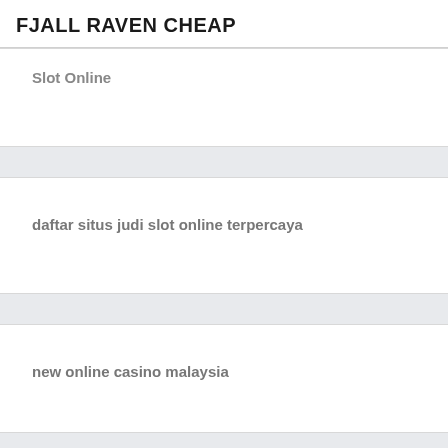FJALL RAVEN CHEAP
Slot Online
daftar situs judi slot online terpercaya
new online casino malaysia
judi online malaysia